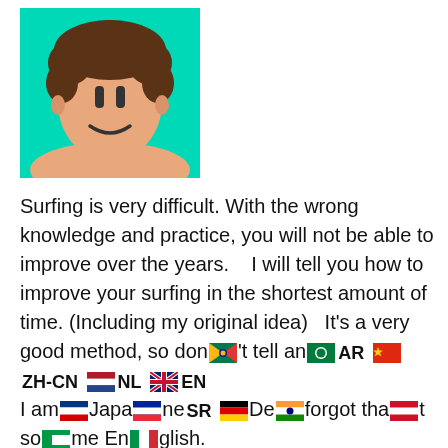[Figure (illustration): Cartoon illustration of a person with curly brown hair and a simple smiley face on a teal/cyan background]
Surfing is very difficult. With the wrong knowledge and practice, you will not be able to improve over the years.    I will tell you how to improve your surfing in the shortest amount of time. (Including my original idea)    It's a very good method, so don't tell anyone.    I am Japanese, and I forgot that some English. The method is a KiDo on Natural science. But please permit it.